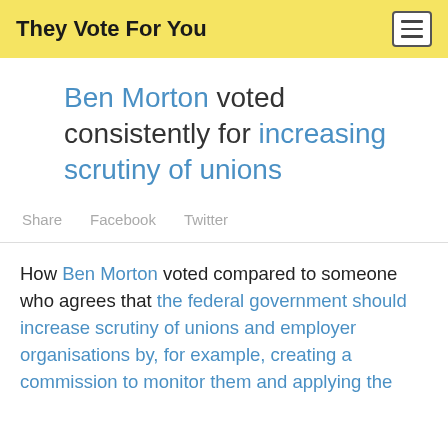They Vote For You
Ben Morton voted consistently for increasing scrutiny of unions
Share   Facebook   Twitter
How Ben Morton voted compared to someone who agrees that the federal government should increase scrutiny of unions and employer organisations by, for example, creating a commission to monitor them and applying the